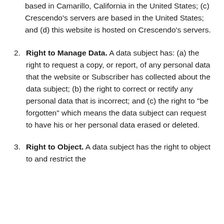based in Camarillo, California in the United States; (c) Crescendo's servers are based in the United States; and (d) this website is hosted on Crescendo's servers.
2. Right to Manage Data. A data subject has: (a) the right to request a copy, or report, of any personal data that the website or Subscriber has collected about the data subject; (b) the right to correct or rectify any personal data that is incorrect; and (c) the right to "be forgotten" which means the data subject can request to have his or her personal data erased or deleted.
3. Right to Object. A data subject has the right to object to and restrict the